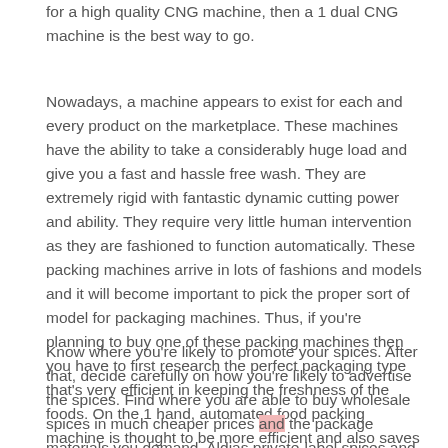for a high quality CNG machine, then a 1 dual CNG machine is the best way to go.
Nowadays, a machine appears to exist for each and every product on the marketplace. These machines have the ability to take a considerably huge load and give you a fast and hassle free wash. They are extremely rigid with fantastic dynamic cutting power and ability. They require very little human intervention as they are fashioned to function automatically. These packing machines arrive in lots of fashions and models and it will become important to pick the proper sort of model for packaging machines. Thus, if you're planning to buy one of these packing machines then you have to first research the perfect packaging type that's very efficient in keeping the freshness of the foods. On the 1 hand, automated food packing machine is thought to be more efficient and also saves a whole lot of time.
Know where you're likely to promote your spices. After that, decide carefully on how you're likely to advertise the spices. Find where you are able to buy wholesale spices in much cheaper prices and the package materials you demand. Aldias private-label spices and seasonings are at least 70% less expensive than that which